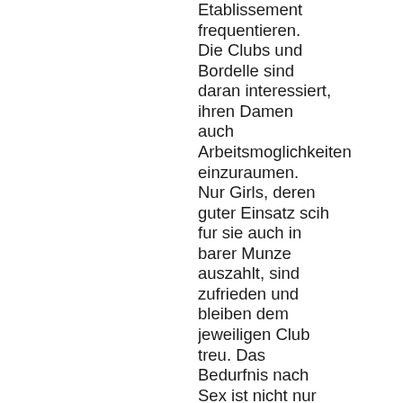Etablissement frequentieren. Die Clubs und Bordelle sind daran interessiert, ihren Damen auch Arbeitsmoglichkeiten einzuraumen. Nur Girls, deren guter Einsatz scih fur sie auch in barer Munze auszahlt, sind zufrieden und bleiben dem jeweiligen Club treu. Das Bedurfnis nach Sex ist nicht nur Mnanern zu eigen, auch die Ladys wurmt es eher, wenn sie in einem schon hergerichteten Club und in verfuhrerische Damm...